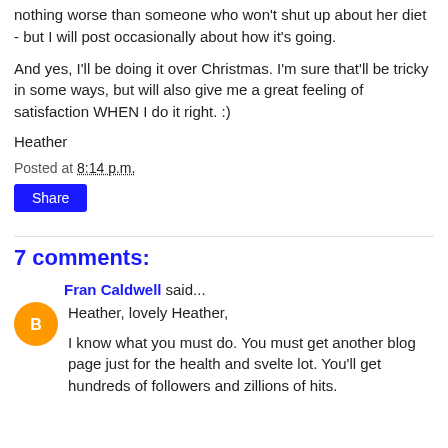nothing worse than someone who won't shut up about her diet - but I will post occasionally about how it's going.
And yes, I'll be doing it over Christmas. I'm sure that'll be tricky in some ways, but will also give me a great feeling of satisfaction WHEN I do it right. :)
Heather
Posted at 8:14 p.m.
Share
7 comments:
Fran Caldwell said...
Heather, lovely Heather,

I know what you must do. You must get another blog page just for the health and svelte lot. You'll get hundreds of followers and zillions of hits.